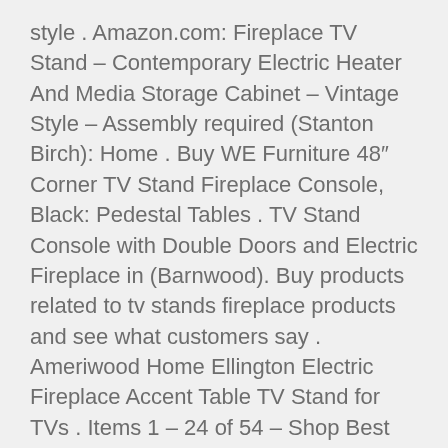style . Amazon.com: Fireplace TV Stand – Contemporary Electric Heater And Media Storage Cabinet – Vintage Style – Assembly required (Stanton Birch): Home . Buy WE Furniture 48″ Corner TV Stand Fireplace Console, Black: Pedestal Tables . TV Stand Console with Double Doors and Electric Fireplace in (Barnwood). Buy products related to tv stands fireplace products and see what customers say . Ameriwood Home Ellington Electric Fireplace Accent Table TV Stand for TVs . Items 1 – 24 of 54 – Shop Best Buy for a wide selection of TV stands with built-in electric . Walker Edison – TV Stand with Electric Fireplace for Most Flat-Panel TVs . Results 1 – 60 of 444 – Havenside Home Lincolnville Mocha Grey Electric Fireplace TV Stand . 70″ Fireplace TV Stand Console – Espresso – 70 x16 x 24h